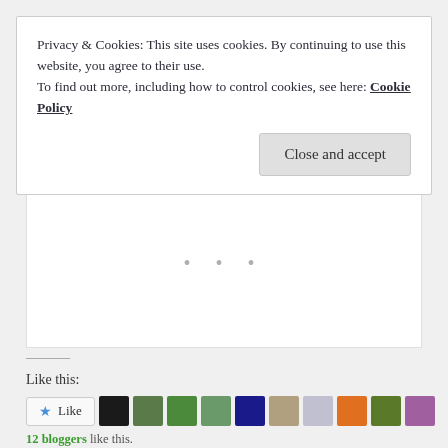Privacy & Cookies: This site uses cookies. By continuing to use this website, you agree to their use.
To find out more, including how to control cookies, see here: Cookie Policy
Close and accept
[Figure (other): Empty white content area with three small grey dots indicating loading]
Like this:
[Figure (other): Like button followed by a row of blogger avatar thumbnails]
12 bloggers like this.